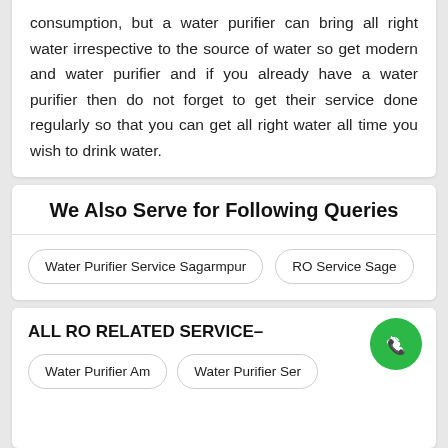consumption, but a water purifier can bring all right water irrespective to the source of water so get modern and water purifier and if you already have a water purifier then do not forget to get their service done regularly so that you can get all right water all time you wish to drink water.
We Also Serve for Following Queries
Water Purifier Service Sagarmpur
RO Service Sage
ALL RO RELATED SERVICE-
Water Purifier Am
Water Purifier Ser